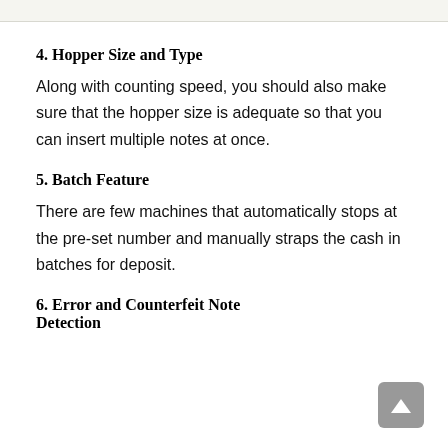4. Hopper Size and Type
Along with counting speed, you should also make sure that the hopper size is adequate so that you can insert multiple notes at once.
5. Batch Feature
There are few machines that automatically stops at the pre-set number and manually straps the cash in batches for deposit.
6. Error and Counterfeit Note Detection